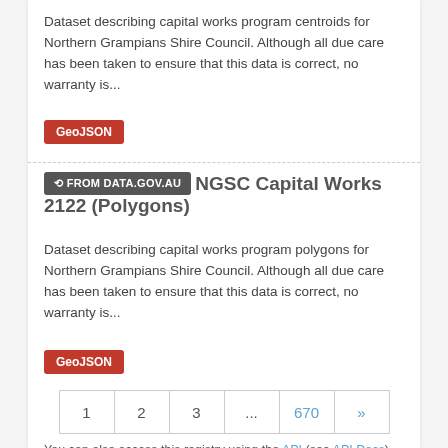Dataset describing capital works program centroids for Northern Grampians Shire Council. Although all due care has been taken to ensure that this data is correct, no warranty is...
GeoJSON
FROM DATA.GOV.AU  NGSC Capital Works 2122 (Polygons)
Dataset describing capital works program polygons for Northern Grampians Shire Council. Although all due care has been taken to ensure that this data is correct, no warranty is...
GeoJSON
1  2  3  ...  670  »
You can also access this registry using the API (see API Docs).